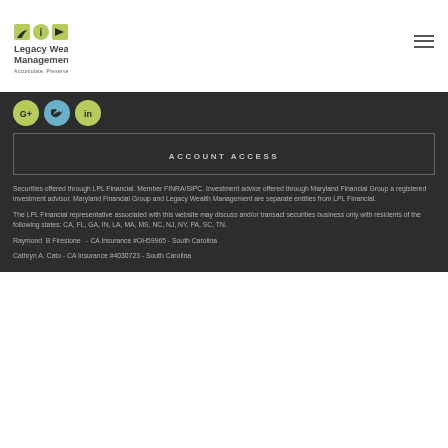[Figure (logo): Legacy Wealth Management logo with three green icons and tagline 'Accumulate. Preserve. Enjoy.']
[Figure (other): Three social media circular icon buttons: G+, Twitter bird, LinkedIn in]
ACCOUNT ACCESS
Securities offered through LPL Financial. Member FINRA/SIPC. Investment advice offered through Maryland Financial Group a registered investment advisor. Maryland Financial Group and Legacy Wealth Management are separate entities from LPL Financial.
The LPL Financial representative associated with this website may discuss and/or transact securities business only with residents of the following states: CA, FL, GA, IN, LA, MA, MS, NC, NJ, NY, PA, SC, TN.
Raymond  B Firestone   - CA Insurance #OH59965 - South Carolina
Cathryn A. Cato - CA Insurance #4030723 - South Carolina